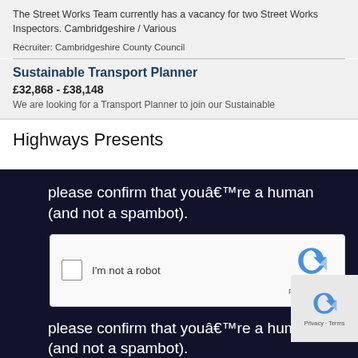The Street Works Team currently has a vacancy for two Street Works Inspectors. Cambridgeshire / Various
Recruiter: Cambridgeshire County Council
Sustainable Transport Planner
£32,868 - £38,148
We are looking for a Transport Planner to join our Sustainable
Highways Presents
please confirm that youâ€™re a human (and not a spambot).
[Figure (screenshot): reCAPTCHA widget with checkbox labeled 'I'm not a robot' and reCAPTCHA logo with Privacy · Terms text]
please confirm that youâ€™re a human (and not a spambot).